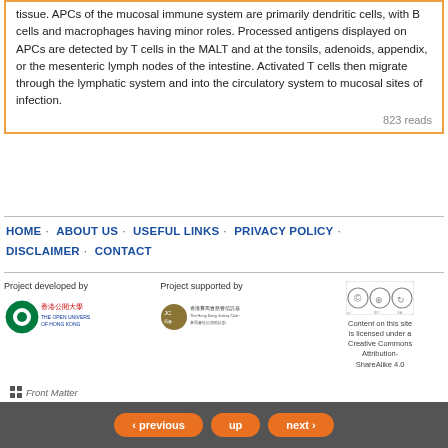tissue. APCs of the mucosal immune system are primarily dendritic cells, with B cells and macrophages having minor roles. Processed antigens displayed on APCs are detected by T cells in the MALT and at the tonsils, adenoids, appendix, or the mesenteric lymph nodes of the intestine. Activated T cells then migrate through the lymphatic system and into the circulatory system to mucosal sites of infection.
823 reads
HOME · ABOUT US · USEFUL LINKS · PRIVACY POLICY · DISCLAIMER · CONTACT
[Figure (logo): Open University of Hong Kong logo]
Project developed by
[Figure (logo): Hong Kong Jockey Club Charities Trust logo]
Project supported by
[Figure (logo): Creative Commons Attribution-ShareAlike logo]
Content on this site is licensed under a Creative Commons Attribution-ShareAlike 4.0
Front Matter
‹ previous  up  next ›